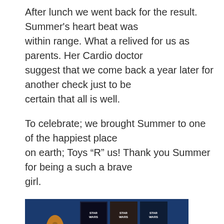After lunch we went back for the result. Summer's heart beat was within range. What a relived for us as parents. Her Cardio doctor suggest that we come back a year later for another check just to be certain that all is well.
To celebrate; we brought Summer to one of the happiest place on earth; Toys “R” us! Thank you Summer for being a such a brave girl.
[Figure (photo): A child (Summer) posing in a Toys R Us store with Star Wars merchandise boxes visible in the background and cartoon giraffe decorations on the walls.]